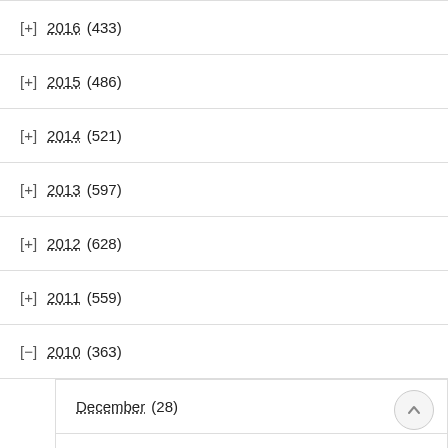[+] 2016 (433)
[+] 2015 (486)
[+] 2014 (521)
[+] 2013 (597)
[+] 2012 (628)
[+] 2011 (559)
[-] 2010 (363)
December (28)
November (30)
October (30)
September (30)